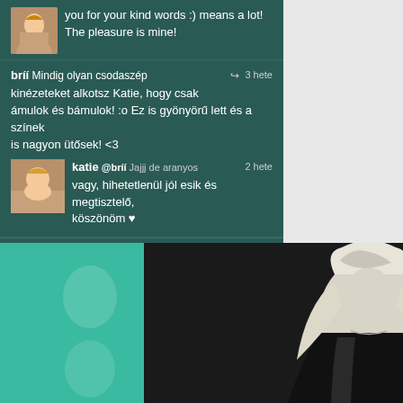you for your kind words :) means a lot! The pleasure is mine!
bríí Mindig olyan csodaszép kinézeteket alkotsz Katie, hogy csak ámulok és bámulok! :o Ez is gyönyörű lett és a színek is nagyon ütősek! <3  3 hete
katie @bríí Jajjj de aranyos vagy, hihetetlenül jól esik és megtisztelő, köszönöm ♥  2 hete
Upgrade
név
üzenet
[Figure (photo): Digital art collage with a blonde woman in black leather jacket centered, surrounded by teal and green tinted versions of similar images]